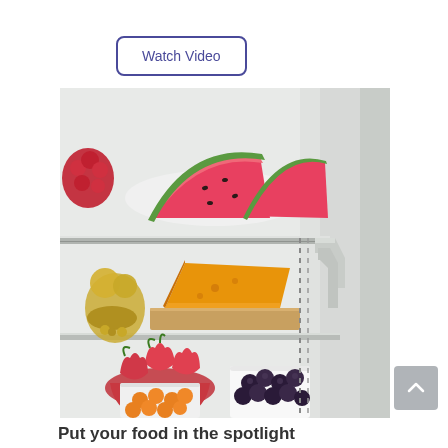Watch Video
[Figure (photo): Interior of a refrigerator showing multiple shelves with food: watermelon slices on a white plate on the top shelf, a wedge of orange cheese on a cutting board on the middle shelf with gold/brass decorative items, and the bottom shelf with strawberries, blackberries in a white container, and small orange fruits (kumquats) in a white container.]
Put your food in the spotlight